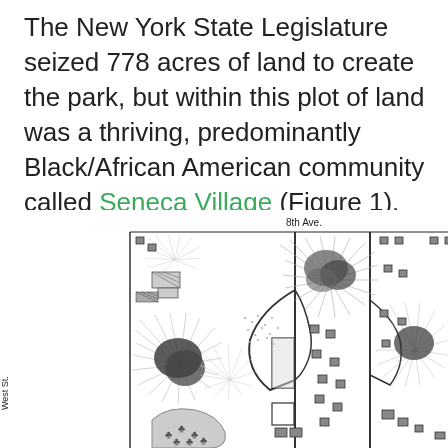The New York State Legislature seized 778 acres of land to create the park, but within this plot of land was a thriving, predominantly Black/African American community called Seneca Village (Figure 1).
[Figure (map): Historical black and white map showing a section of Manhattan with topographical features including hills (shown with radial lines), paths/roads, building plots (shown as small squares), water features, and tree clusters. The label '8th Ave.' appears at the top and 'West St.' appears on the left side. This is a period map depicting the area that became Central Park, including Seneca Village.]